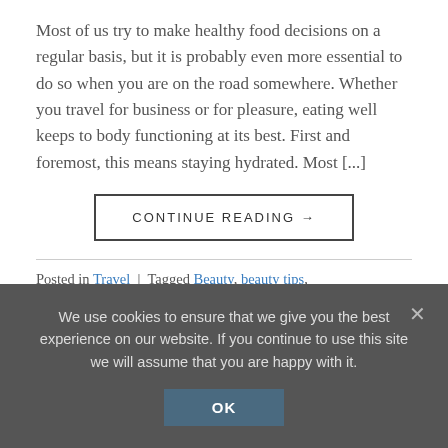Most of us try to make healthy food decisions on a regular basis, but it is probably even more essential to do so when you are on the road somewhere. Whether you travel for business or for pleasure, eating well keeps to body functioning at its best. First and foremost, this means staying hydrated. Most [...]
CONTINUE READING →
Posted in Travel | Tagged Beauty, beauty tips, BeautyFrizz, diet, diet tips, eating healthy, food to go, food trip, Healthy Eating, travel, travel ideas  1 Comment
We use cookies to ensure that we give you the best experience on our website. If you continue to use this site we will assume that you are happy with it.
OK